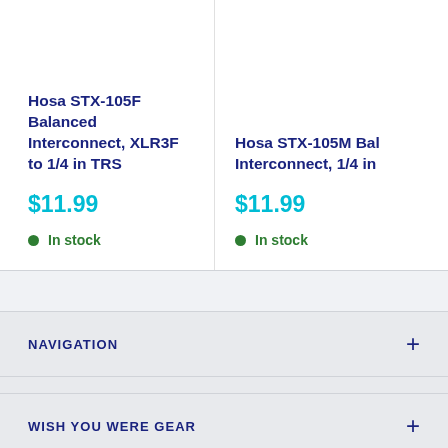Hosa STX-105F Balanced Interconnect, XLR3F to 1/4 in TRS
$11.99
In stock
Hosa STX-105M Balanced Interconnect, 1/4 in
$11.99
In stock
NAVIGATION
WISH YOU WERE GEAR